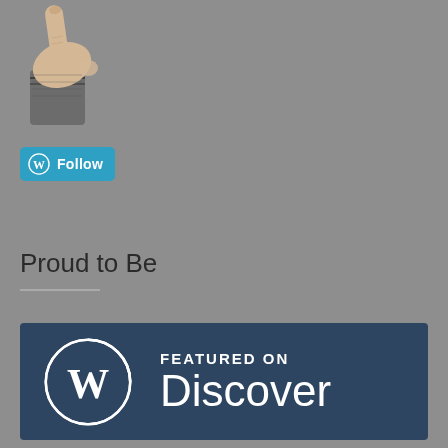[Figure (illustration): Vintage engraving-style pointing hand/finger illustration, partially cropped at top-left]
[Figure (other): WordPress Follow button — teal rounded rectangle with WordPress W logo and white 'Follow' text]
Proud to Be
[Figure (other): WordPress Featured on Discover banner — dark navy blue rectangle with WordPress circular W logo and text 'FEATURED ON Discover' in white]